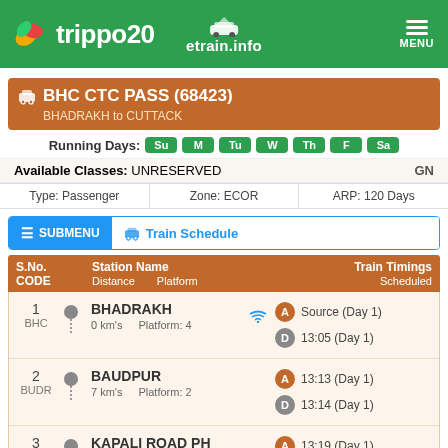trippo20 | etrain.info | MENU
BHC CTC PASS (68423) — BHADRAKH to CUTTACK
Running Days: Su M Tu W Th F Sa
Available Classes: UNRESERVED  GN
Type: Passenger | Zone: ECOR | ARP: 120 Days
Train Schedule
| S.No. CODE | Station Name / Distance / Platform | Train Timings Scheduled |
| --- | --- | --- |
| 1 BHC | BHADRAKH
0 km's  Platform: 4 | A Source (Day 1)
D 13:05 (Day 1) |
| 2 BUDR | BAUDPUR
7 km's  Platform: 2 | A 13:13 (Day 1)
D 13:14 (Day 1) |
| 3 KPLD | KAPALI ROAD PH
11 km's  Platform: 2 | A 13:19 (Day 1)
D 13:20 (Day 1) |
| 4 KER | KENDUAPADA
16 km's  Platform: 2 | A 13:25 (Day 1) |